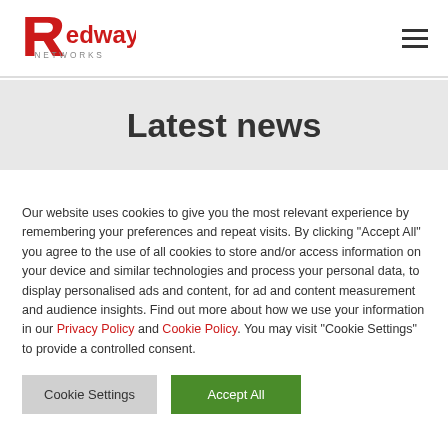[Figure (logo): Redway Networks logo — red stylized R followed by 'edway' in red, 'NETWORKS' in grey below]
Latest news
Our website uses cookies to give you the most relevant experience by remembering your preferences and repeat visits. By clicking "Accept All" you agree to the use of all cookies to store and/or access information on your device and similar technologies and process your personal data, to display personalised ads and content, for ad and content measurement and audience insights. Find out more about how we use your information in our Privacy Policy and Cookie Policy. You may visit "Cookie Settings" to provide a controlled consent.